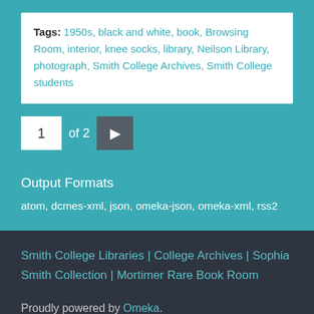Tags: 1950s, black and white, book, Browsing Room, interior, knee socks, library, Neilson Library, photograph, Smith College Archives, Smith College students
1 of 2 ▶
Output Formats
atom, dcmes-xml, json, omeka-json, omeka-xml, rss2
Smith College Libraries | College Archives | Sophia Smith Collection | Mortimer Rare Book Room
Proudly powered by Omeka.